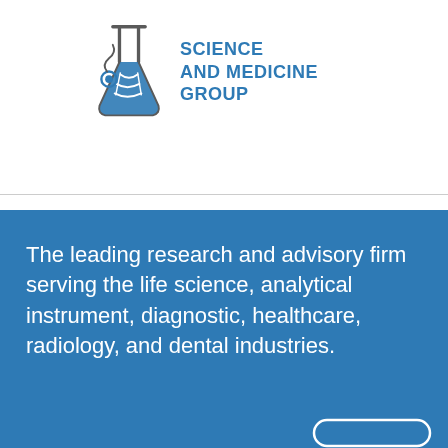[Figure (logo): Science and Medicine Group logo with laboratory flask and DNA helix icon in blue and grey, with text SCIENCE AND MEDICINE GROUP in blue bold uppercase letters]
The leading research and advisory firm serving the life science, analytical instrument, diagnostic, healthcare, radiology, and dental industries.